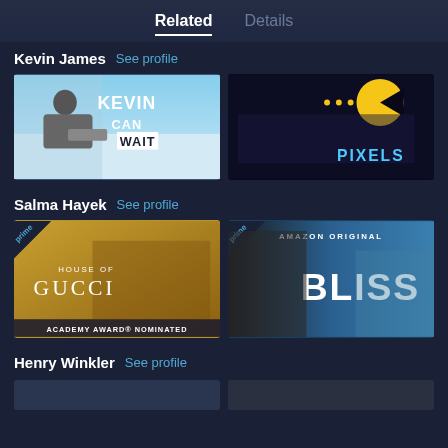Related   Details
Kevin James  See profile
[Figure (screenshot): Kevin Can Wait TV show thumbnail with Kevin James reclining in chair]
[Figure (screenshot): Pixels movie thumbnail with group of people and Pac-Man]
Salma Hayek  See profile
[Figure (screenshot): House of Gucci movie thumbnail - Academy Award Nominated, Prime Video]
[Figure (screenshot): Bliss Amazon Original movie thumbnail with Salma Hayek and Owen Wilson, Prime Video]
Henry Winkler  See profile